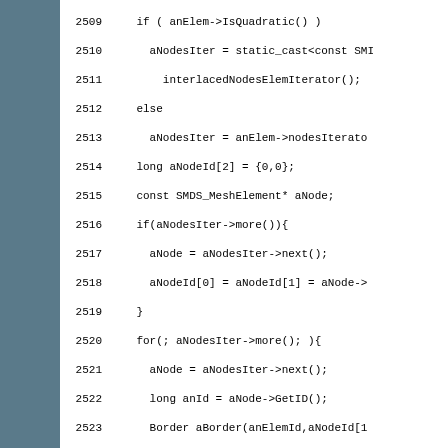[Figure (other): Teal/blue-grey sidebar panel on the left side of the page]
Code listing lines 2509-2540 showing C++ source code for mesh element border processing and FreeNodes class definition